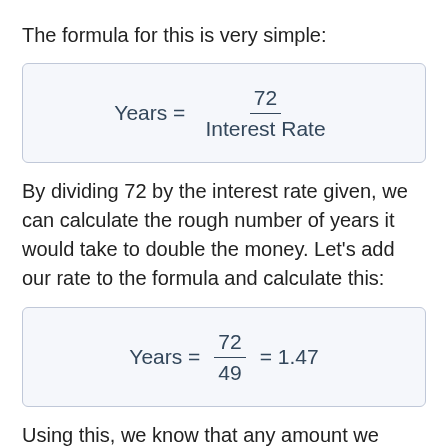The formula for this is very simple:
By dividing 72 by the interest rate given, we can calculate the rough number of years it would take to double the money. Let's add our rate to the formula and calculate this:
Using this, we know that any amount we invest at 49.00% would double itself in approximately 1.47 years. So $12 would be worth $24 in ~1.47 years.